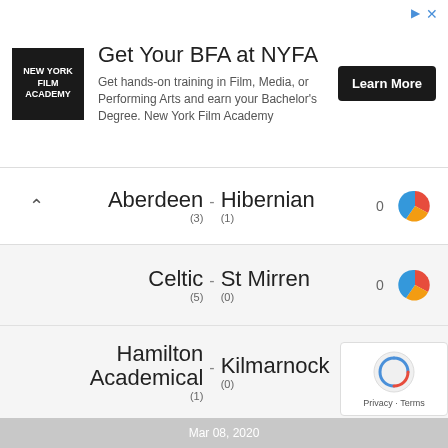[Figure (other): New York Film Academy advertisement banner with logo, title 'Get Your BFA at NYFA', description text, and Learn More button]
Aberdeen - Hibernian (3) (1) 0
Celtic - St Mirren (5) (0) 0
Hamilton Academical - Kilmarnock (1) (0) 0
St Johnstone - Livingston 0
St. Johnstone - Livingston (1) (0) 0
Mar 08, 2020